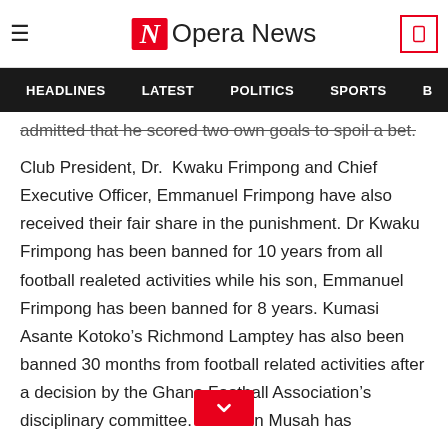Opera News
HEADLINES  LATEST  POLITICS  SPORTS
admitted that he scored two own goals to spoil a bet.
Club President, Dr.  Kwaku Frimpong and Chief Executive Officer, Emmanuel Frimpong have also received their fair share in the punishment. Dr Kwaku Frimpong has been banned for 10 years from all football realeted activities while his son, Emmanuel Frimpong has been banned for 8 years. Kumasi Asante Kotoko’s Richmond Lamptey has also been banned 30 months from football related activities after a decision by the Ghana Football Association’s disciplinary committee. Hashmin Musah has